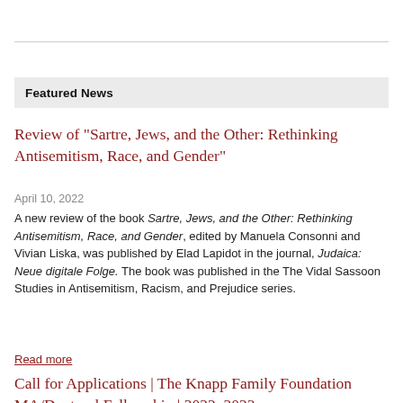Featured News
Review of "Sartre, Jews, and the Other: Rethinking Antisemitism, Race, and Gender"
April 10, 2022
A new review of the book Sartre, Jews, and the Other: Rethinking Antisemitism, Race, and Gender, edited by Manuela Consonni and Vivian Liska, was published by Elad Lapidot in the journal, Judaica: Neue digitale Folge. The book was published in the The Vidal Sassoon Studies in Antisemitism, Racism, and Prejudice series.
Read more
Call for Applications | The Knapp Family Foundation MA/Doctoral Fellowship | 2022–2023